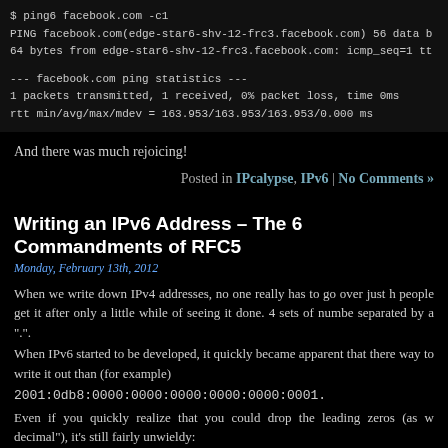$ ping6 facebook.com -c1
PING facebook.com(edge-star6-shv-12-frc3.facebook.com) 56 data b
64 bytes from edge-star6-shv-12-frc3.facebook.com: icmp_seq=1 tt

--- facebook.com ping statistics ---
1 packets transmitted, 1 received, 0% packet loss, time 0ms
rtt min/avg/max/mdev = 163.953/163.953/163.953/0.000 ms
And there was much rejoicing!
Posted in IPcalypse, IPv6 | No Comments »
Writing an IPv6 Address – The 6 Commandments of RFC5
Monday, February 13th, 2012
When we write down IPv4 addresses, no one really has to go over just h people get it after only a little while of seeing it done. 4 sets of numbe separated by a ".".
When IPv6 started to be developed, it quickly became apparent that there way to write it out than (for example)
2001:0db8:0000:0000:0000:0000:0000:0001.
Even if you quickly realize that you could drop the leading zeros (as w decimal"), it's still fairly unwieldy:
2001:db8:0:0:0:0:0:1
even if it is much better.
So the idea of the double-colon was introduced to combine sets of zer